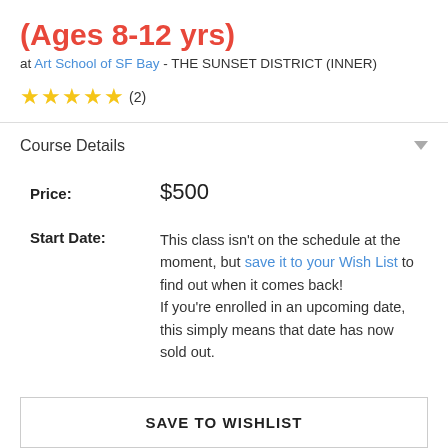(Ages 8-12 yrs)
at Art School of SF Bay - THE SUNSET DISTRICT (INNER)
★★★★★ (2)
Course Details
Price: $500
Start Date: This class isn't on the schedule at the moment, but save it to your Wish List to find out when it comes back! If you're enrolled in an upcoming date, this simply means that date has now sold out.
SAVE TO WISHLIST